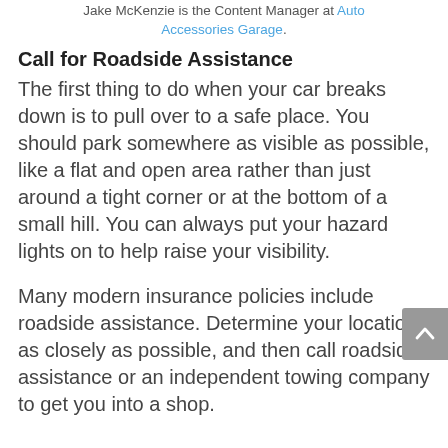Jake McKenzie is the Content Manager at Auto Accessories Garage.
Call for Roadside Assistance
The first thing to do when your car breaks down is to pull over to a safe place. You should park somewhere as visible as possible, like a flat and open area rather than just around a tight corner or at the bottom of a small hill. You can always put your hazard lights on to help raise your visibility.
Many modern insurance policies include roadside assistance. Determine your location as closely as possible, and then call roadside assistance or an independent towing company to get you into a shop.